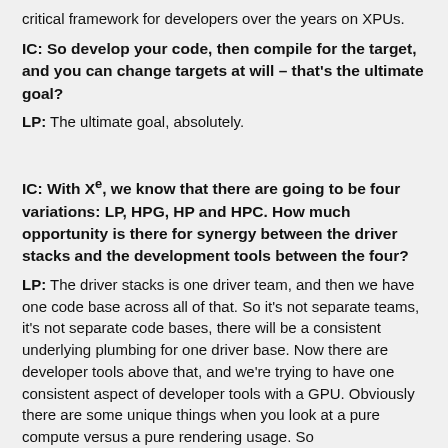critical framework for developers over the years on XPUs.
IC: So develop your code, then compile for the target, and you can change targets at will – that's the ultimate goal?
LP: The ultimate goal, absolutely.
IC: With Xe, we know that there are going to be four variations: LP, HPG, HP and HPC. How much opportunity is there for synergy between the driver stacks and the development tools between the four?
LP: The driver stacks is one driver team, and then we have one code base across all of that. So it's not separate teams, it's not separate code bases, there will be a consistent underlying plumbing for one driver base. Now there are developer tools above that, and we're trying to have one consistent aspect of developer tools with a GPU. Obviously there are some unique things when you look at a pure compute versus a pure rendering usage. So there will be some variations of the tools required based on each of